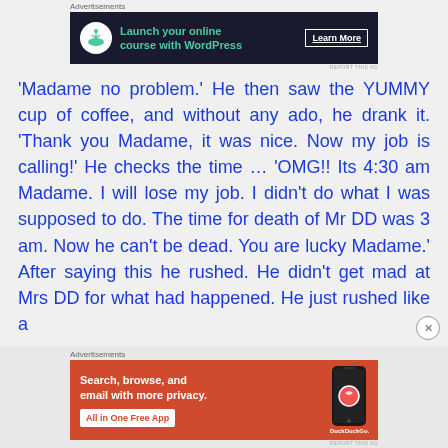Advertisements
[Figure (screenshot): Dark-background advertisement banner: bonsai tree icon, text 'Launch your online course with WordPress', Learn More button]
REPORT THIS AD
'Madame no problem.' He then saw the YUMMY cup of coffee, and without any ado, he drank it. 'Thank you Madame, it was nice. Now my job is calling!' He checks the time … 'OMG!! Its 4:30 am Madame. I will lose my job. I didn't do what I was supposed to do. The time for death of Mr DD was 3 am. Now he can't be dead. You are lucky Madame.' After saying this he rushed. He didn't get mad at Mrs DD for what had happened. He just rushed like a
Advertisements
[Figure (screenshot): Orange DuckDuckGo advertisement: 'Search, browse, and email with more privacy. All in One Free App' with phone mockup and DuckDuckGo logo]
REPORT THIS AD